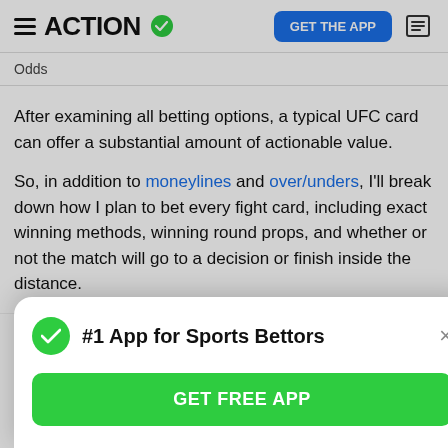ACTION — GET THE APP
Odds
After examining all betting options, a typical UFC card can offer a substantial amount of actionable value.
So, in addition to moneylines and over/unders, I'll break down how I plan to bet every fight card, including exact winning methods, winning round props, and whether or not the match will go to a decision or finish inside the distance.
[Figure (infographic): WynnBET promotional banner with logo and green CTA button]
[Figure (infographic): Modal popup: #1 App for Sports Bettors with green GET FREE APP button and close X]